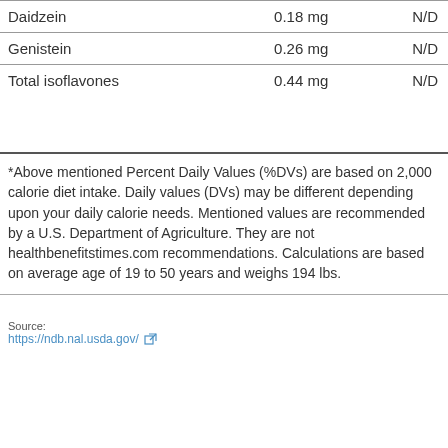|  |  |  |
| --- | --- | --- |
| Daidzein | 0.18 mg | N/D |
| Genistein | 0.26 mg | N/D |
| Total isoflavones | 0.44 mg | N/D |
*Above mentioned Percent Daily Values (%DVs) are based on 2,000 calorie diet intake. Daily values (DVs) may be different depending upon your daily calorie needs. Mentioned values are recommended by a U.S. Department of Agriculture. They are not healthbenefitstimes.com recommendations. Calculations are based on average age of 19 to 50 years and weighs 194 lbs.
Source:
https://ndb.nal.usda.gov/